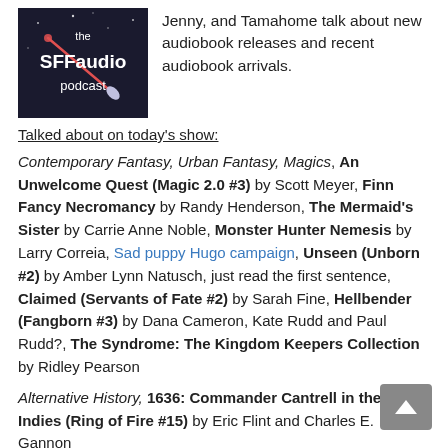[Figure (logo): SFFaudio podcast logo — dark background with stylized text 'the SFFaudio podcast' and a rocket graphic]
Jenny, and Tamahome talk about new audiobook releases and recent audiobook arrivals.
Talked about on today's show:
Contemporary Fantasy, Urban Fantasy, Magics, An Unwelcome Quest (Magic 2.0 #3) by Scott Meyer, Finn Fancy Necromancy by Randy Henderson, The Mermaid's Sister by Carrie Anne Noble, Monster Hunter Nemesis by Larry Correia, Sad puppy Hugo campaign, Unseen (Unborn #2) by Amber Lynn Natusch, just read the first sentence, Claimed (Servants of Fate #2) by Sarah Fine, Hellbender (Fangborn #3) by Dana Cameron, Kate Rudd and Paul Rudd?, The Syndrome: The Kingdom Keepers Collection by Ridley Pearson
Alternative History, 1636: Commander Cantrell in the West Indies (Ring of Fire #15) by Eric Flint and Charles E. Gannon